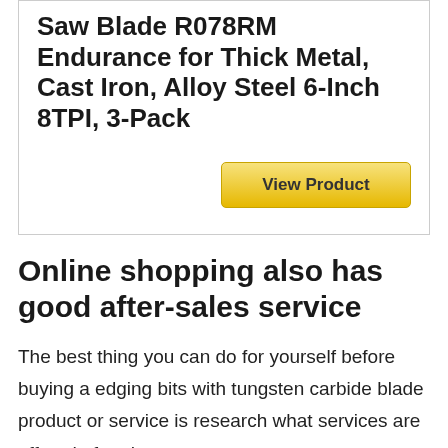Saw Blade R078RM Endurance for Thick Metal, Cast Iron, Alloy Steel 6-Inch 8TPI, 3-Pack
[Figure (other): View Product button - golden/yellow gradient button]
Online shopping also has good after-sales service
The best thing you can do for yourself before buying a edging bits with tungsten carbide blade product or service is research what services are offered after the